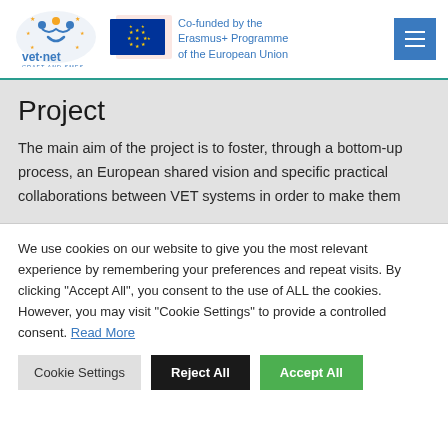[Figure (logo): vet·net CRAFT AND SMES logo with stylized figures and map background]
[Figure (logo): European Union flag with circle of yellow stars on blue background]
Co-funded by the Erasmus+ Programme of the European Union
Project
The main aim of the project is to foster, through a bottom-up process, an European shared vision and specific practical collaborations between VET systems in order to make them
We use cookies on our website to give you the most relevant experience by remembering your preferences and repeat visits. By clicking "Accept All", you consent to the use of ALL the cookies. However, you may visit "Cookie Settings" to provide a controlled consent. Read More